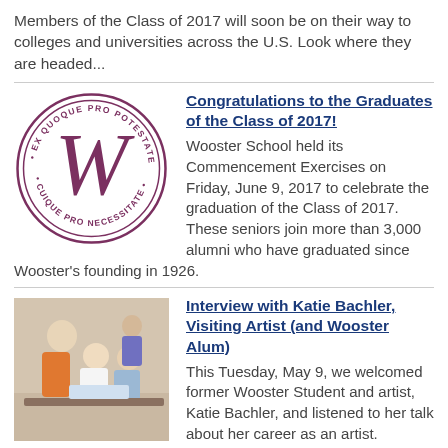Members of the Class of 2017 will soon be on their way to colleges and universities across the U.S. Look where they are headed...
[Figure (logo): Wooster School circular seal with large W and Latin text: EX QUOQUE PRO POTESTATE CUIQUE PRO NECESSITATE]
Congratulations to the Graduates of the Class of 2017!
Wooster School held its Commencement Exercises on Friday, June 9, 2017 to celebrate the graduation of the Class of 2017. These seniors join more than 3,000 alumni who have graduated since Wooster's founding in 1926.
[Figure (photo): Photo of children and an adult looking at artwork at a table in what appears to be a classroom or hallway setting.]
Interview with Katie Bachler, Visiting Artist (and Wooster Alum)
This Tuesday, May 9, we welcomed former Wooster Student and artist, Katie Bachler, and listened to her talk about her career as an artist. Intrigued by her presentation and her work, Sartaj interviewed her to learn more.